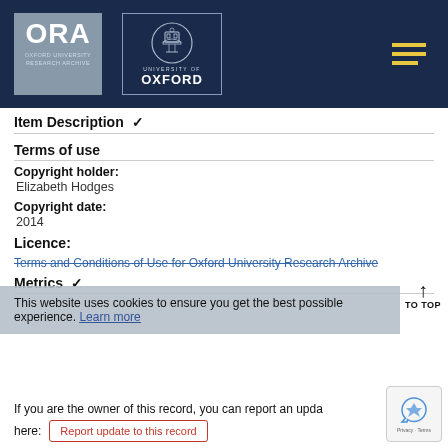[Figure (logo): ORA Oxford University Research Archive logo and University of Oxford crest logo on dark navy header bar with hamburger menu icon]
Item Description ▼
Terms of use
Copyright holder: Elizabeth Hodges
Copyright date: 2014
Licence: Terms and Conditions of Use for Oxford University Research Archive
Metrics ▼
This website uses cookies to ensure you get the best possible experience. Learn more
If you are the owner of this record, you can report an update here:
Report update to this record